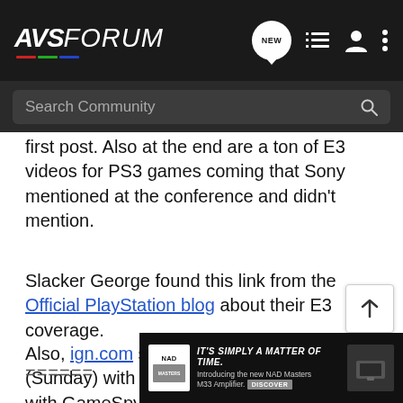AVS FORUM
first post. Also at the end are a ton of E3 videos for PS3 games coming that Sony mentioned at the conference and didn't mention.
Slacker George found this link from the Official PlayStation blog about their E3 coverage.
Also, ign.com starts off at 4:00 PDT today (Sunday) with live shows, sharing the work with GameSpy.com it seems. Here is the home page of their text coverage.
[Figure (screenshot): NAD Masters M33 Amplifier advertisement banner at bottom of page]